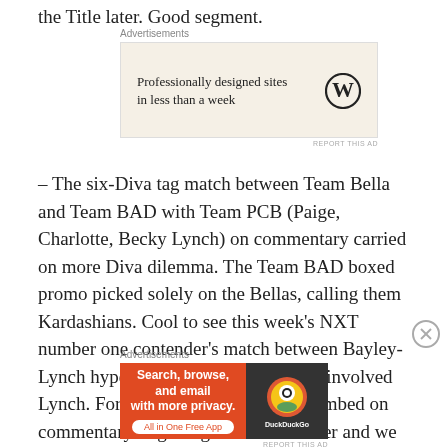the Title later. Good segment.
[Figure (other): Advertisement banner: Professionally designed sites in less than a week. WordPress logo.]
– The six-Diva tag match between Team Bella and Team BAD with Team PCB (Paige, Charlotte, Becky Lynch) on commentary carried on more Diva dilemma. The Team BAD boxed promo picked solely on the Bellas, calling them Kardashians. Cool to see this week's NXT number one contender's match between Bayley-Lynch hyped on the show too since it involved Lynch. For that matter, Team PCB bombed on commentary in getting themselves over and we really had no idea why they were out there in the
[Figure (other): Advertisement banner: DuckDuckGo - Search, browse, and email with more privacy. All in One Free App.]